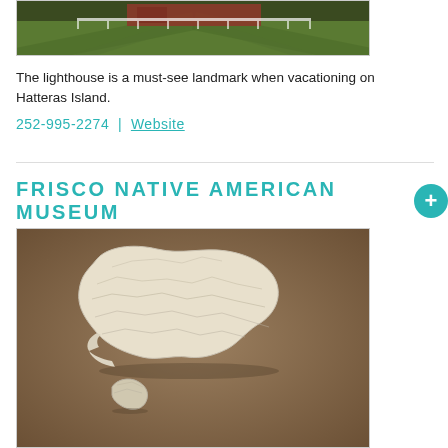[Figure (photo): Aerial or ground-level photo of a red barn with white fence and green lawn (partially visible at top of page)]
The lighthouse is a must-see landmark when vacationing on Hatteras Island.
252-995-2274 | Website
FRISCO NATIVE AMERICAN MUSEUM
[Figure (photo): Photo of Native American stone artifacts — a large white/cream flint stone tool and a smaller flint piece — displayed on a brown background]